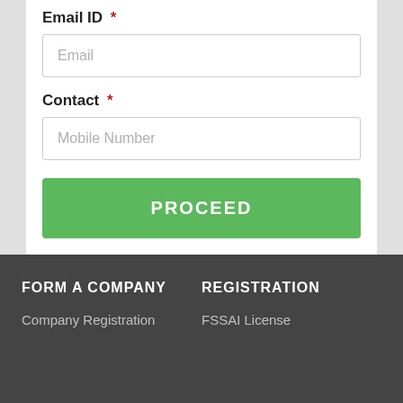Email ID *
Email
Contact *
Mobile Number
PROCEED
FORM A COMPANY
REGISTRATION
Company Registration
FSSAI License